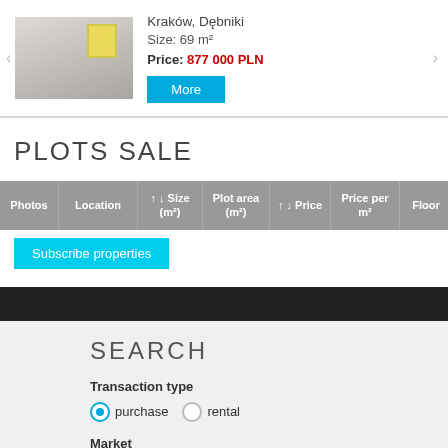[Figure (photo): Interior photo of a room with bright window, white walls and light floor]
Kraków, Dębniki
Size: 69 m²
Price: 877 000 PLN
More
PLOTS SALE
| Photos | Location | ↑ ↓ Size (m²) | Plot area (m²) | ↑ ↓ Price | Price per m² | Floor | Plot type |
| --- | --- | --- | --- | --- | --- | --- | --- |
Subscribe properties
SEARCH
Transaction type
purchase
rental
Market
any
primary
secondary